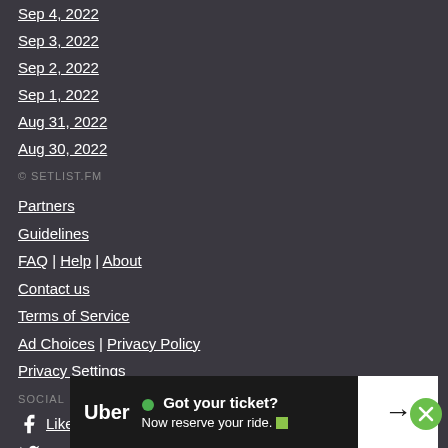Sep 4, 2022
Sep 3, 2022
Sep 2, 2022
Sep 1, 2022
Aug 31, 2022
Aug 30, 2022
© SETLIST.FM
Partners
Guidelines
FAQ | Help | About
Contact us
Terms of Service
Ad Choices | Privacy Policy
Privacy Settings
SOCIAL
Like us
Follo
Follo
[Figure (screenshot): Uber advertisement banner: 'Got your ticket? Now reserve your ride.' with a green dot and arrow button on right]